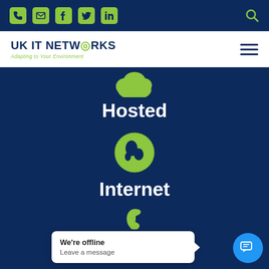UK IT Networks website header with navigation icons (phone, email, Facebook, Twitter, LinkedIn, search)
[Figure (logo): UK IT Networks logo with tagline 'Adapting to Your Environment']
[Figure (illustration): Green cloud icon on dark navy background above the word Hosted]
Hosted
[Figure (illustration): Green globe/earth icon on dark navy background above the word Internet]
Internet
[Figure (illustration): Green phone/inbound icon on dark navy background above the word Inbound]
Inbound
We're offline
Leave a message